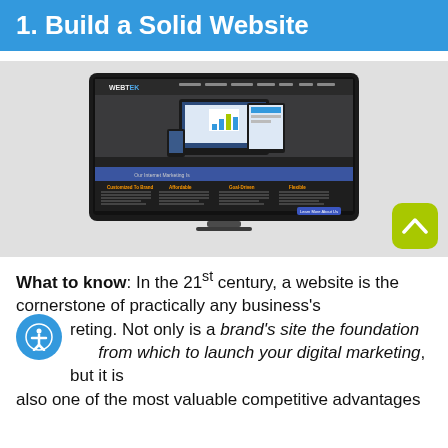1. Build a Solid Website
[Figure (screenshot): Screenshot of a WEBTEK marketing website displayed on a desktop monitor, showing responsive design across multiple device sizes.]
What to know: In the 21st century, a website is the cornerstone of practically any business's marketing. Not only is a brand's site the foundation from which to launch your digital marketing, but it is also one of the most valuable competitive advantages